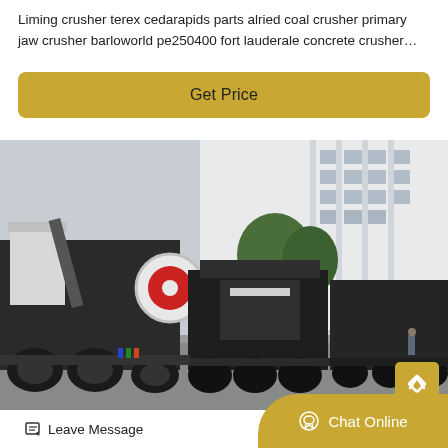Liming crusher terex cedarapids parts alried coal crusher primary jaw crusher barloworld pe250400 fort lauderale concrete crusher…
[Figure (other): Button labeled 'Get Price' with gold/yellow background and rounded corners]
[Figure (photo): Industrial mobile jaw crusher machinery on trucks parked in a yard in front of a large white building, multiple heavy machines visible]
[Figure (other): Bottom bar with 'Leave Message' icon and text on left, and 'Chat Online' button with chat icon on right in gold/yellow]